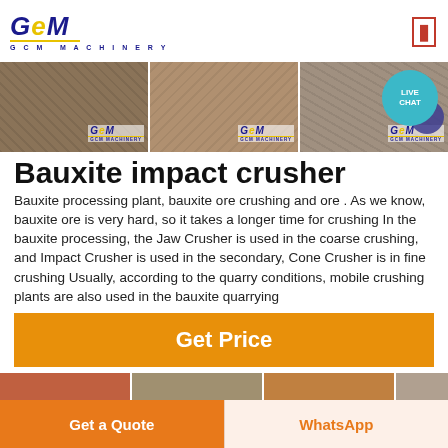[Figure (logo): GCM Machinery logo with dark blue italic text and yellow underline]
[Figure (photo): Three banner images of mining/crushing machinery with GCM Machinery branding and a Live Chat bubble overlay]
Bauxite impact crusher
Bauxite processing plant, bauxite ore crushing and ore . As we know, bauxite ore is very hard, so it takes a longer time for crushing In the bauxite processing, the Jaw Crusher is used in the coarse crushing, and Impact Crusher is used in the secondary, Cone Crusher is in fine crushing Usually, according to the quarry conditions, mobile crushing plants are also used in the bauxite quarrying
Get Price
[Figure (photo): Partial row of machinery photos at the bottom of the page]
Get a Quote
WhatsApp